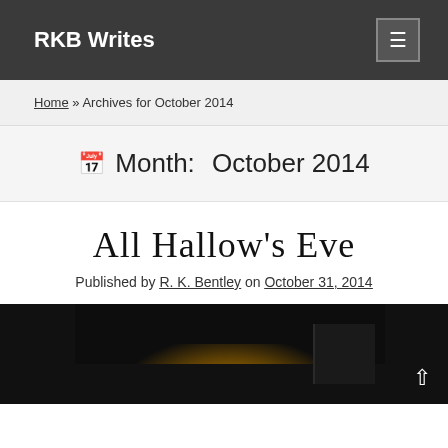RKB Writes
Home » Archives for October 2014
Month: October 2014
All Hallow's Eve
Published by R. K. Bentley on October 31, 2014
[Figure (photo): Dark nighttime photo of a lit house/garage exterior]